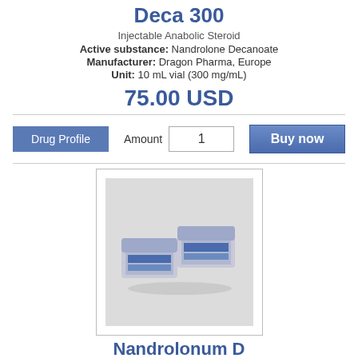Deca 300
Injectable Anabolic Steroid
Active substance: Nandrolone Decanoate
Manufacturer: Dragon Pharma, Europe
Unit: 10 mL vial (300 mg/mL)
75.00 USD
[Figure (photo): Two pharmaceutical vials/boxes of Deca 300 by Dragon Pharma, shown on white background. Blue and silver packaging.]
Nandrolonum D
Androgen; Anabolic Steroid; Progestogen